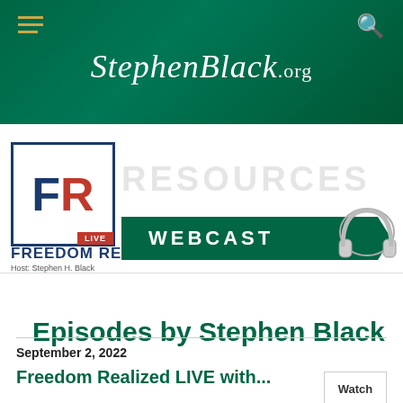[Figure (screenshot): Green header banner for StephenBlack.org website with hamburger menu icon on left and search icon on right]
StephenBlack.org
[Figure (logo): Freedom Realized Live logo — FR letters in blue and red inside a square border, with LIVE badge, FREEDOM REALIZED text and Host: Stephen H. Black below. RESOURCES watermark in background. WEBCAST banner in green with headphone graphic.]
Episodes by Stephen Black
September 2, 2022
Freedom Realized LIVE with...
Watch